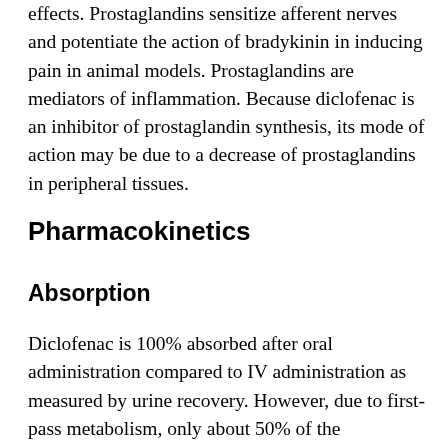effects. Prostaglandins sensitize afferent nerves and potentiate the action of bradykinin in inducing pain in animal models. Prostaglandins are mediators of inflammation. Because diclofenac is an inhibitor of prostaglandin synthesis, its mode of action may be due to a decrease of prostaglandins in peripheral tissues.
Pharmacokinetics
Absorption
Diclofenac is 100% absorbed after oral administration compared to IV administration as measured by urine recovery. However, due to first-pass metabolism, only about 50% of the